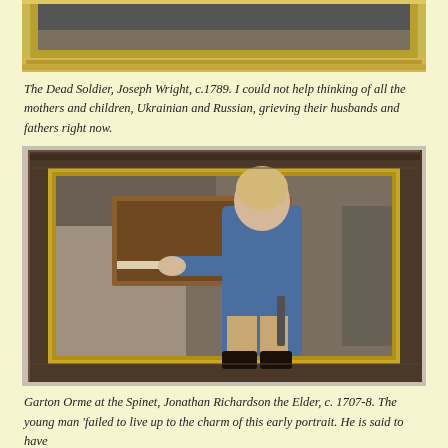[Figure (photo): Photograph of a framed painting with ornate gold frame, top portion visible, cropped at top of page]
The Dead Soldier, Joseph Wright, c.1789. I could not help thinking of all the mothers and children, Ukrainian and Russian, grieving their husbands and fathers right now.
[Figure (photo): Photograph of a framed painting showing a young boy in a blue coat playing a spinet/harpsichord, in an ornate dark frame with gold inner border, displayed on a gallery wall]
Garton Orme at the Spinet, Jonathan Richardson the Elder, c. 1707-8. The young man 'failed to live up to the charm of this early portrait. He is said to have